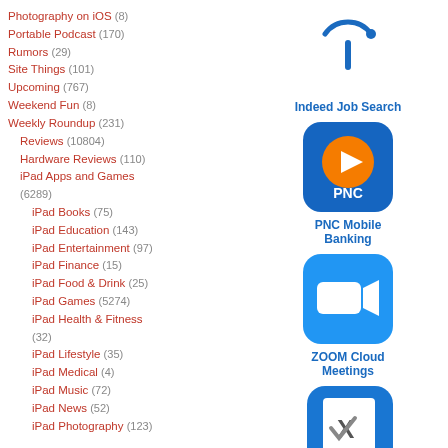Photography on iOS (8)
Portable Podcast (170)
Rumors (29)
Site Things (101)
Upcoming (767)
Weekend Fun (8)
Weekly Roundup (231)
Reviews (10804)
Hardware Reviews (110)
iPad Apps and Games (6289)
iPad Books (75)
iPad Education (143)
iPad Entertainment (97)
iPad Finance (15)
iPad Food & Drink (25)
iPad Games (5274)
iPad Health & Fitness (32)
iPad Lifestyle (35)
iPad Medical (4)
iPad Music (72)
iPad News (52)
iPad Photography (123)
[Figure (logo): Indeed Job Search app icon - blue arc with blue dot and blue i on white background]
Indeed Job Search
[Figure (logo): PNC Mobile Banking app icon - blue background with orange circle and white play button triangle, PNC text]
PNC Mobile Banking
[Figure (logo): ZOOM Cloud Meetings app icon - blue background with white video camera symbol]
ZOOM Cloud Meetings
[Figure (logo): Things 3 app icon - blue background with white checklist/task icon and blue circle checkmark]
Things 3